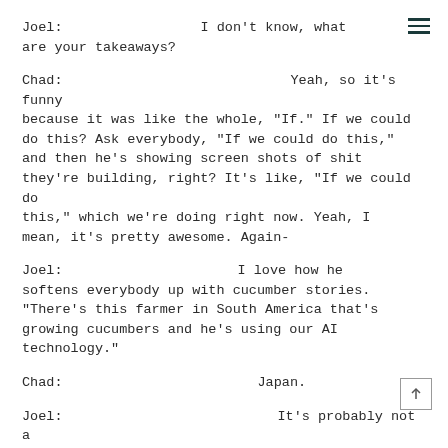Joel:                                I don't know, what are your takeaways?
Chad:                                 Yeah, so it's funny because it was like the whole, "If." If we could do this? Ask everybody, "If we could do this," and then he's showing screen shots of shit they're building, right? It's like, "If we could do this," which we're doing right now. Yeah, I mean, it's pretty awesome. Again-
Joel:                                 I love how he softens everybody up with cucumber stories. "There's this farmer in South America that's growing cucumbers and he's using our AI technology."
Chad:                                 Japan.
Joel:                                 It's probably not a good accent or impression of you at all.
Chad:                                 No, not at all.